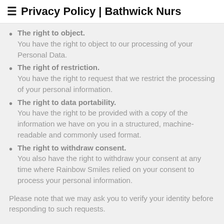≡ Privacy Policy | Bathwick Nurs
The right to object. You have the right to object to our processing of your Personal Data.
The right of restriction. You have the right to request that we restrict the processing of your personal information.
The right to data portability. You have the right to be provided with a copy of the information we have on you in a structured, machine-readable and commonly used format.
The right to withdraw consent. You also have the right to withdraw your consent at any time where Rainbow Smiles relied on your consent to process your personal information.
Please note that we may ask you to verify your identity before responding to such requests.
You have the right to complain to a Data Protectio...